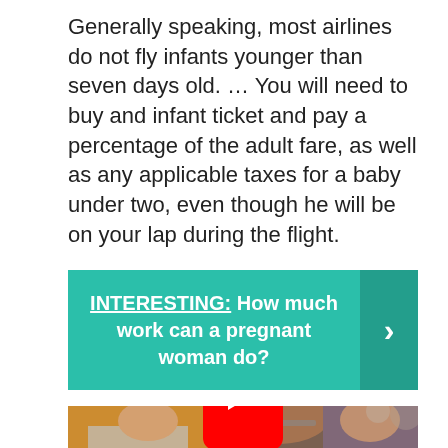Generally speaking, most airlines do not fly infants younger than seven days old. ... You will need to buy and infant ticket and pay a percentage of the adult fare, as well as any applicable taxes for a baby under two, even though he will be on your lap during the flight.
INTERESTING:  How much work can a pregnant woman do?
[Figure (photo): Video thumbnail showing three people: a young man with glasses on the left in front of a yellow background wearing a Puma shirt, a close-up of a man with glasses in the middle, and a woman in a pink outfit on the right. A red YouTube play button is overlaid in the center.]